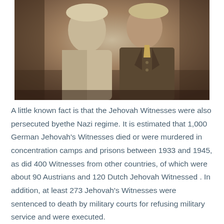[Figure (photo): Sepia-toned historical photograph showing two people, one in a light-colored uniform and one in a darker military-style jacket with buttons.]
A little known fact is that the Jehovah Witnesses were also persecuted byethe Nazi regime. It is estimated that 1,000 German Jehovah's Witnesses died or were murdered in concentration camps and prisons between 1933 and 1945, as did 400 Witnesses from other countries, of which were about 90 Austrians and 120 Dutch Jehovah Witnessed . In addition, at least 273 Jehovah's Witnesses were sentenced to death by military courts for refusing military service and were executed.